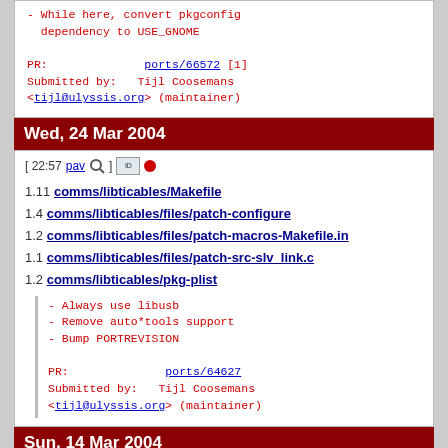- While here, convert pkgconfig dependency to USE_GNOME

PR:              ports/66572 [1]
Submitted by:   Tijl Coosemans <tijl@ulyssis.org> (maintainer)
Wed, 24 Mar 2004
[ 22:57 pav ] [icons]
1.11 comms/libticables/Makefile
1.4 comms/libticables/files/patch-configure
1.2 comms/libticables/files/patch-macros-Makefile.in
1.1 comms/libticables/files/patch-src-slv_link.c
1.2 comms/libticables/pkg-plist
- Always use libusb
- Remove auto*tools support
- Bump PORTREVISION

PR:              ports/64627
Submitted by:   Tijl Coosemans <tijl@ulyssis.org> (maintainer)
Sun, 14 Mar 2004